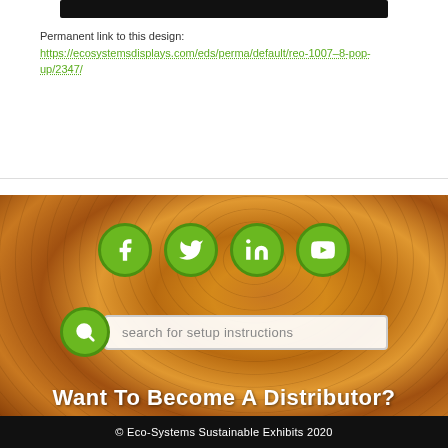Permanent link to this design: https://ecosystemsdisplays.com/eds/perma/default/reo-1007-8-pop-up/2347/
[Figure (infographic): Social media icons: Facebook, Twitter, LinkedIn, YouTube — green circular buttons on wood background]
[Figure (other): Search bar with green magnifying glass icon and placeholder text: search for setup instructions]
Want To Become A Distributor?
Apply Today!
address: 5675 SE International Way • Portland, OR 97222
phone: 503.652.2100 • contact us
© Eco-Systems Sustainable Exhibits 2020